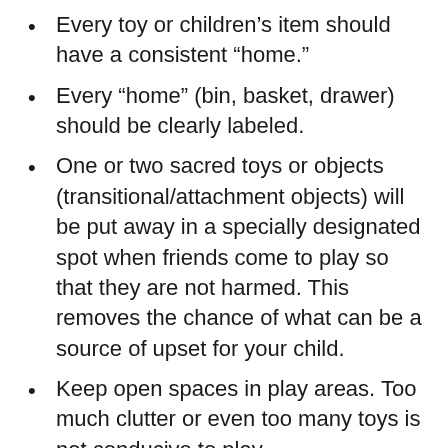Every toy or children's item should have a consistent “home.”
Every “home” (bin, basket, drawer) should be clearly labeled.
One or two sacred toys or objects (transitional/attachment objects) will be put away in a specially designated spot when friends come to play so that they are not harmed. This removes the chance of what can be a source of upset for your child.
Keep open spaces in play areas. Too much clutter or even too many toys is not conducive to play.
Children need space to play.